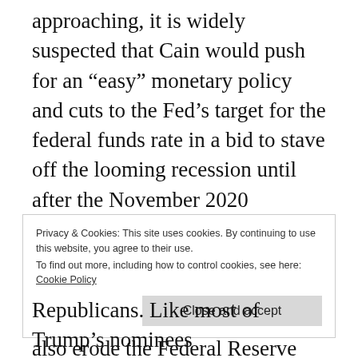approaching, it is widely suspected that Cain would push for an “easy” monetary policy and cuts to the Fed’s target for the federal funds rate in a bid to stave off the looming recession until after the November 2020 election. Not only would such a policy put the dollar-centered international monetary system in danger in the short run, it would also erode the Federal Reserve System’s independence over the long run.
Privacy & Cookies: This site uses cookies. By continuing to use this website, you agree to their use.
To find out more, including how to control cookies, see here: Cookie Policy
Republicans. Like most of Trump’s nominees